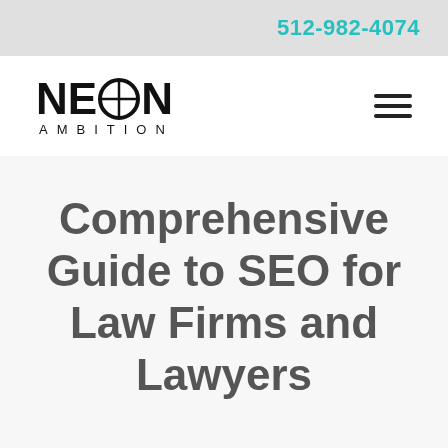512-982-4074
[Figure (logo): Neon Ambition logo with stylized 'NEON' text (large bold letters, O rendered as a circle with crosshair/target design) and 'AMBITION' in small spaced letters below]
Comprehensive Guide to SEO for Law Firms and Lawyers